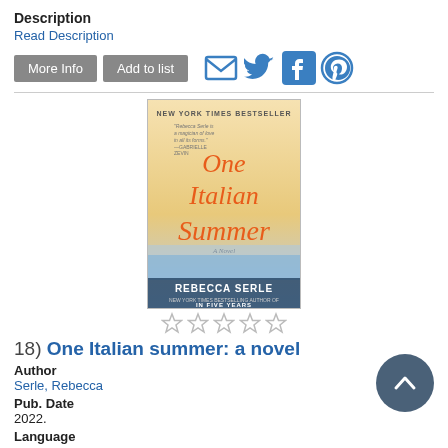Description
Read Description
[Figure (screenshot): Buttons: More Info, Add to list; Social icons: email, Twitter, Facebook, Pinterest]
[Figure (photo): Book cover of 'One Italian Summer' by Rebecca Serle. New York Times Bestseller. Quote by Gabrielle Zevin. Subtitle: New York Times bestselling author of In Five Years.]
[Figure (other): Five empty star rating icons]
18)  One Italian summer: a novel
Author
Serle, Rebecca
Pub. Date
2022.
Language